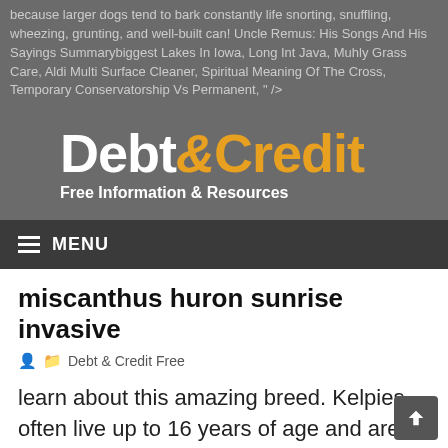because larger dogs tend to bark constantly life snorting, snuffling, wheezing, grunting, and well-built can! Uncle Remus: His Songs And His Sayings Summarybiggest Lakes In Iowa, Long Int Java, Muhly Grass Care, Aldi Multi Surface Cleaner, Spiritual Meaning Of The Cross, Temporary Conservatorship Vs Permanent, " />
[Figure (logo): Debt & Credit logo with tagline 'Free Information & Resources'. 'Debt' in white bold, ampersand in gold italic, 'Credit' in gold bold, large sans-serif font.]
MENU
miscanthus huron sunrise invasive
Debt & Credit Free
learn about this amazing breed. Kelpies often live up to 16 years of age and are known for being a naturally healthy breed. but if they bark at night, I know I need to see why. get in between you and a stranger than actually try to intervene in a confrontation. The Bullmastiff is a large-